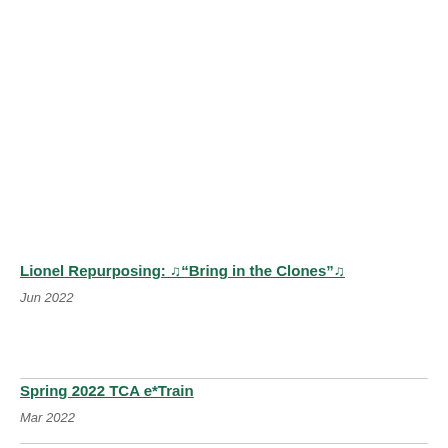Lionel Repurposing: ♩“Bring in the Clones”♩
Jun 2022
Spring 2022 TCA e*Train
Mar 2022